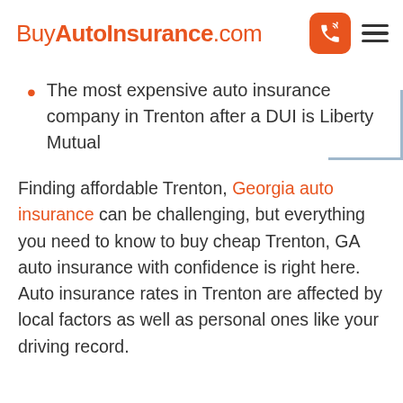BuyAutoInsurance.com
The most expensive auto insurance company in Trenton after a DUI is Liberty Mutual
Finding affordable Trenton, Georgia auto insurance can be challenging, but everything you need to know to buy cheap Trenton, GA auto insurance with confidence is right here. Auto insurance rates in Trenton are affected by local factors as well as personal ones like your driving record.